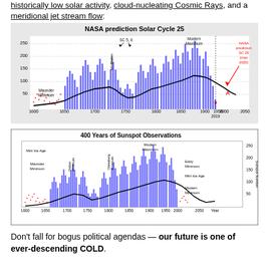historically low solar activity, cloud-nucleating Cosmic Rays, and a meridional jet stream flow:
[Figure (continuous-plot): NASA prediction Solar Cycle 25: chart showing sunspot numbers from 1600 to 2050, with annotations for Maunder Minimum, Dalton Minimum (SC 5, 6), Modern Maximum, and NASA prediction SC 25 (max 2025). Blue bars show sunspot activity, red dots show historical data, black curve shows long-term trend.]
[Figure (continuous-plot): 400 Years of Sunspot Observations: chart showing sunspot numbers from 1600 to 2050, with annotations for Mini Ice Age, Maunder Minimum, Dalton Minimum, Gleissberg Minimum, Modern Maximum, Eddy Minimum, Mini Ice Age, Modern Minimum. Blue bars and red dots, black trend curve, y-axis labeled Sunspot Number.]
Don't fall for bogus political agendas — our future is one of ever-descending COLD.